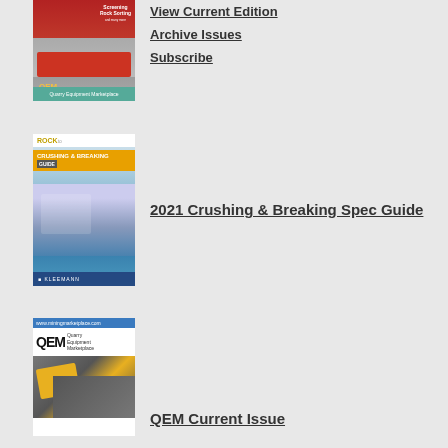[Figure (photo): QEM magazine cover showing screening equipment on red machinery, with QEM label in yellow]
View Current Edition
Archive Issues
Subscribe
[Figure (photo): Rock Crushing & Breaking Guide 2021 cover showing large Kleemann crusher and excavator with blue sky]
2021 Crushing & Breaking Spec Guide
[Figure (photo): QEM Quarry Equipment Marketplace current issue cover with yellow machinery on dark background]
QEM Current Issue